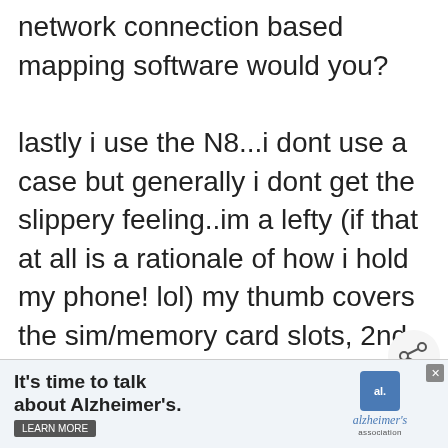network connection based mapping software would you?
lastly i use the N8...i dont use a case but generally i dont get the slippery feeling..im a lefty (if that at all is a rationale of how i hold my phone! lol) my thumb covers the sim/memory card slots, 2nd finger back of phone(covers camera lens) 3rd finger volume down while the last 2 fingers are basically to the bottom of the phone the menu key basically indented into the m... lol the
[Figure (screenshot): Share button icon (circle with share symbol)]
[Figure (screenshot): What's Next callout showing French Onion Chicken Bake with thumbnail]
[Figure (screenshot): Advertisement banner: It's time to talk about Alzheimer's. with Learn More button and Alzheimer's Association logo]